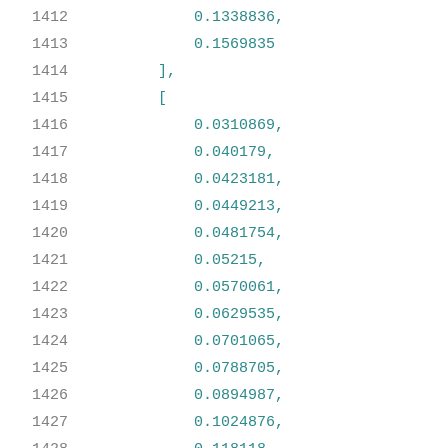1412    0.1338836,
1413    0.1569835
1414  ],
1415  [
1416    0.0310869,
1417    0.040179,
1418    0.0423181,
1419    0.0449213,
1420    0.0481754,
1421    0.05215,
1422    0.0570061,
1423    0.0629535,
1424    0.0701065,
1425    0.0788705,
1426    0.0894987,
1427    0.1024876,
1428    0.118118,
1429    0.1369342,
1430    0.1596649
1431  ]
1432 ]